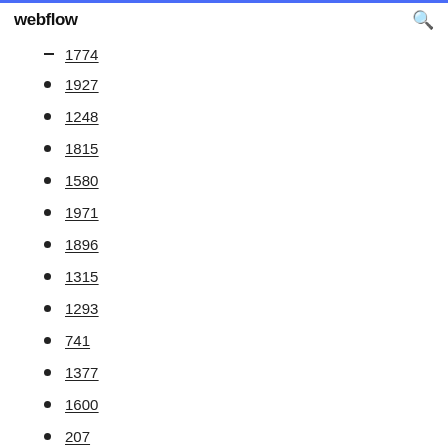webflow
1774
1927
1248
1815
1580
1971
1896
1315
1293
741
1377
1600
207